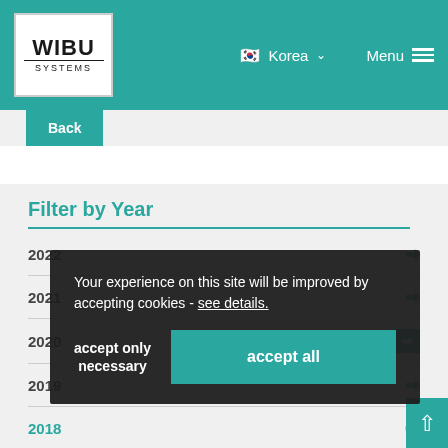WIBU SYSTEMS | Korea | Menu
Back
Filter by Year
2022
2021
2020
2019
2018
Your experience on this site will be improved by accepting cookies - see details.
accept only necessary
accept all